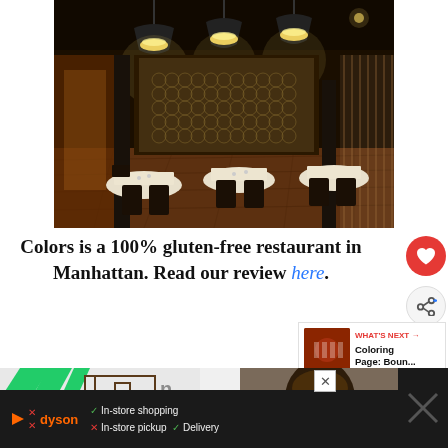[Figure (photo): Interior of Colors restaurant in Manhattan showing dining room with dark wood floors, white tablecloths, pendant lights with yellow glow, ornate white screen partition, dark columns, and wood-slat room divider on the right.]
Colors is a 100% gluten-free restaurant in Manhattan. Read our review here.
[Figure (other): Red circular heart/favorite button (social UI element)]
[Figure (other): Grey circular share button with share icon]
[Figure (other): What's Next panel showing thumbnail of coloring page and label 'Coloring Page: Boun...']
[Figure (other): Advertisement banner at the bottom showing Dyson brand with green diagonal stripes logo, In-store shopping checkmark, In-store pickup X, Delivery checkmark, and blue navigation icon]